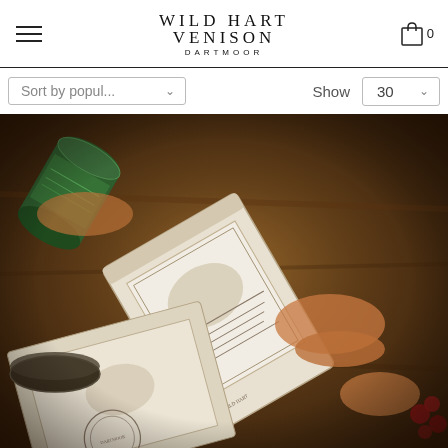Wild Hart Venison Dartmoor
Sort by popul...  Show  30
[Figure (photo): Overhead close-up photograph of hands holding Wild Hart Venison Dartmoor branded packaging — a kraft paper bag with illustrations and a circular stamp seal, alongside a dark green tin/can and a bowl, set on a rustic wooden surface with atmospheric warm lighting.]